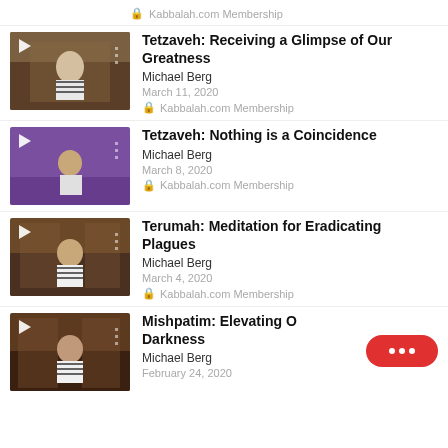🔒 Kabbalah.com Membership
[Figure (screenshot): Video thumbnail - man in tallit in synagogue setting]
Tetzaveh: Receiving a Glimpse of Our Greatness
Michael Berg
March 11, 2020
🔒 Kabbalah.com Membership
[Figure (screenshot): Video thumbnail - man speaking on purple-lit stage]
Tetzaveh: Nothing is a Coincidence
Michael Berg
March 8, 2020
🔒 Kabbalah.com Membership
[Figure (screenshot): Video thumbnail - man in tallit in synagogue setting]
Terumah: Meditation for Eradicating Plagues
Michael Berg
March 4, 2020
🔒 Kabbalah.com Membership
[Figure (screenshot): Video thumbnail - man in tallit in synagogue setting]
Mishpatim: Elevating Out of Darkness
Michael Berg
February 24, 2020